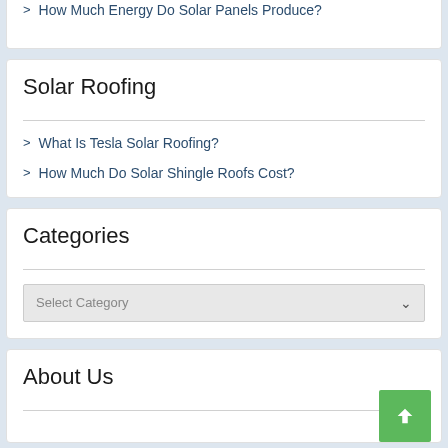How Much Energy Do Solar Panels Produce?
Solar Roofing
What Is Tesla Solar Roofing?
How Much Do Solar Shingle Roofs Cost?
Categories
Select Category
About Us